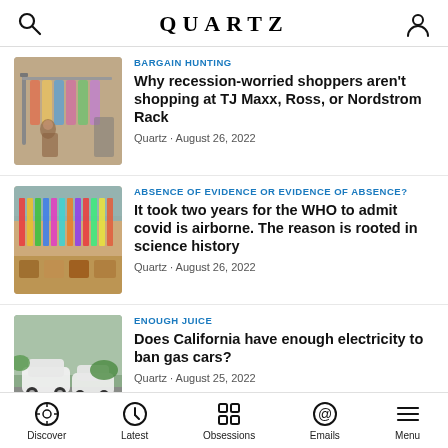QUARTZ
BARGAIN HUNTING — Why recession-worried shoppers aren't shopping at TJ Maxx, Ross, or Nordstrom Rack — Quartz · August 26, 2022
ABSENCE OF EVIDENCE OR EVIDENCE OF ABSENCE? — It took two years for the WHO to admit covid is airborne. The reason is rooted in science history — Quartz · August 26, 2022
ENOUGH JUICE — Does California have enough electricity to ban gas cars? — Quartz · August 25, 2022
Discover  Latest  Obsessions  Emails  Menu